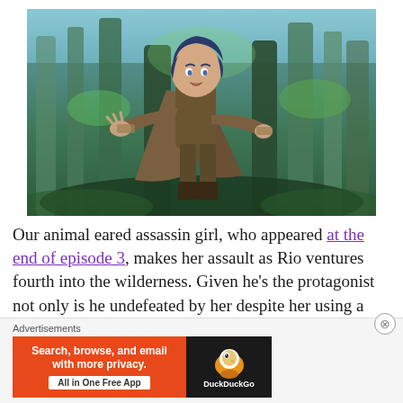[Figure (illustration): Anime character - a boy with dark blue hair wearing a brown hooded cloak, crouching in a fighting stance in a forest setting with tall trees and green foliage in the background]
Our animal eared assassin girl, who appeared at the end of episode 3, makes her assault as Rio ventures fourth into the wilderness. Given he's the protagonist not only is he undefeated by her despite her using a poison dart up-front in the battle, he then naturally frees her from her slave collar and
Advertisements
[Figure (screenshot): DuckDuckGo advertisement banner: orange left section with text 'Search, browse, and email with more privacy. All in One Free App' and dark right section with DuckDuckGo duck logo]